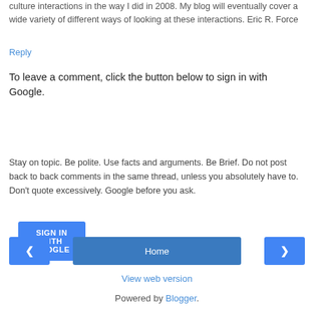culture interactions in the way I did in 2008. My blog will eventually cover a wide variety of different ways of looking at these interactions. Eric R. Force
Reply
To leave a comment, click the button below to sign in with Google.
[Figure (other): SIGN IN WITH GOOGLE button (blue rounded rectangle)]
Stay on topic. Be polite. Use facts and arguments. Be Brief. Do not post back to back comments in the same thread, unless you absolutely have to. Don't quote excessively. Google before you ask.
[Figure (other): Navigation bar with left arrow button, Home button, and right arrow button]
View web version
Powered by Blogger.